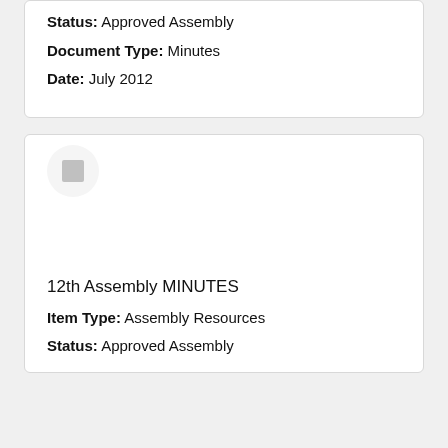Status: Approved Assembly
Document Type: Minutes
Date: July 2012
[Figure (illustration): Avatar circle with grey square icon inside]
12th Assembly MINUTES
Item Type: Assembly Resources
Status: Approved Assembly